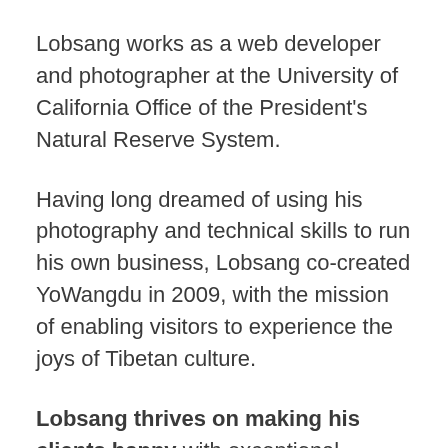Lobsang works as a web developer and photographer at the University of California Office of the President's Natural Reserve System.
Having long dreamed of using his photography and technical skills to run his own business, Lobsang co-created YoWangdu in 2009, with the mission of enabling visitors to experience the joys of Tibetan culture.
Lobsang thrives on making his clients happy with exceptional customer service, and is inspired by the motivation to contribute to much-needed education projects for Tibetans.
The beloved Tibetan cookbook — Tibetan Home Cooking — is based on Lobsang Wangdu's original